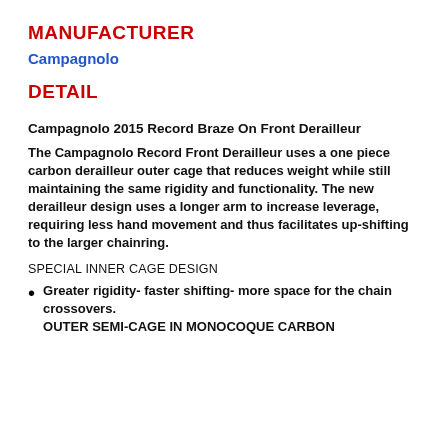MANUFACTURER
Campagnolo
DETAIL
Campagnolo 2015 Record Braze On Front Derailleur
The Campagnolo Record Front Derailleur uses a one piece carbon derailleur outer cage that reduces weight while still maintaining the same rigidity and functionality. The new derailleur design uses a longer arm to increase leverage, requiring less hand movement and thus facilitates up-shifting to the larger chainring.
SPECIAL INNER CAGE DESIGN
Greater rigidity- faster shifting- more space for the chain crossovers.
OUTER SEMI-CAGE IN MONOCOQUE CARBON